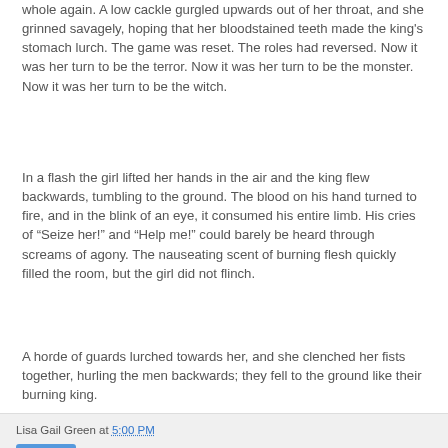whole again. A low cackle gurgled upwards out of her throat, and she grinned savagely, hoping that her bloodstained teeth made the king's stomach lurch. The game was reset. The roles had reversed. Now it was her turn to be the terror. Now it was her turn to be the monster. Now it was her turn to be the witch.
In a flash the girl lifted her hands in the air and the king flew backwards, tumbling to the ground. The blood on his hand turned to fire, and in the blink of an eye, it consumed his entire limb. His cries of “Seize her!” and “Help me!” could barely be heard through screams of agony. The nauseating scent of burning flesh quickly filled the room, but the girl did not flinch.
A horde of guards lurched towards her, and she clenched her fists together, hurling the men backwards; they fell to the ground like their burning king.
Lisa Gail Green at 5:00 PM